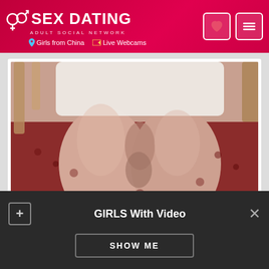SEX DATING ADULT SOCIAL NETWORK - Girls from China | Live Webcams
[Figure (photo): Photo showing a person kneeling on a patterned red rug, wearing a white top and flesh-colored pantyhose/tights, viewed from behind.]
About Me
Reviews (0)
GIRLS With Video
SHOW ME